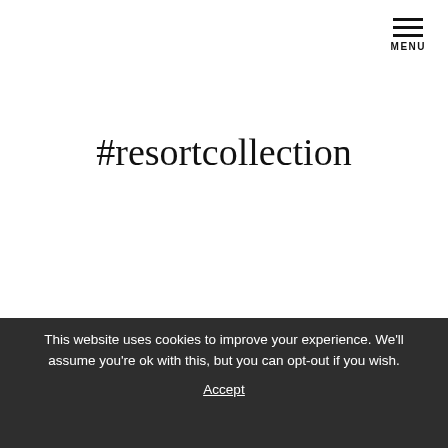MENU
#resortcollection
This website uses cookies to improve your experience. We'll assume you're ok with this, but you can opt-out if you wish.
Accept